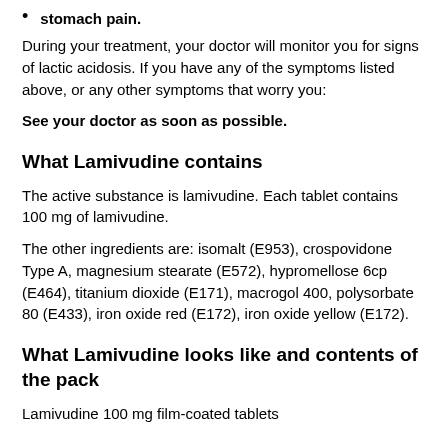stomach pain.
During your treatment, your doctor will monitor you for signs of lactic acidosis. If you have any of the symptoms listed above, or any other symptoms that worry you:
See your doctor as soon as possible.
What Lamivudine contains
The active substance is lamivudine. Each tablet contains 100 mg of lamivudine.
The other ingredients are: isomalt (E953), crospovidone Type A, magnesium stearate (E572), hypromellose 6cp (E464), titanium dioxide (E171), macrogol 400, polysorbate 80 (E433), iron oxide red (E172), iron oxide yellow (E172).
What Lamivudine looks like and contents of the pack
Lamivudine 100 mg film-coated tablets